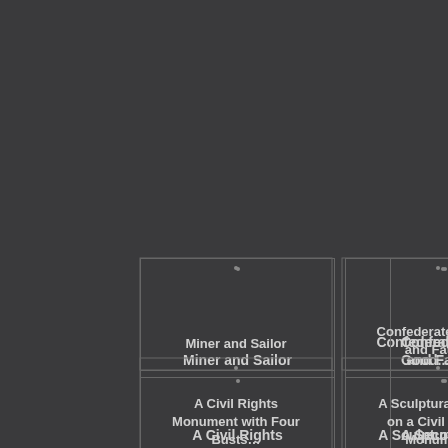[Figure (other): Card grid layout showing monument and sculpture categories. Top row: 'Miner and Sailor', 'Confederate Mother and Father', 'Confed... Good...' (partially visible). Bottom row: 'A Civil Rights Monument with Four Busts...', 'A Sculptural Figure on a Civil Rights Monument', 'A Seco... Figure... R...' (partially visible).]